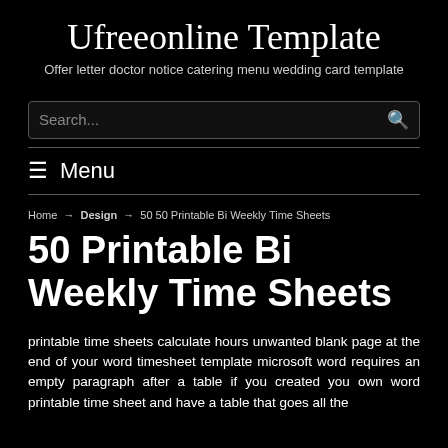Ufreeonline Template
Offer letter doctor notice catering menu wedding card template
Search...
≡ Menu
Home → Design → 50 50 Printable Bi Weekly Time Sheets
50 Printable Bi Weekly Time Sheets
printable time sheets calculate hours unwanted blank page at the end of your word timesheet template microsoft word requires an empty paragraph after a table if you created you own word printable time sheet and have a table that goes all the